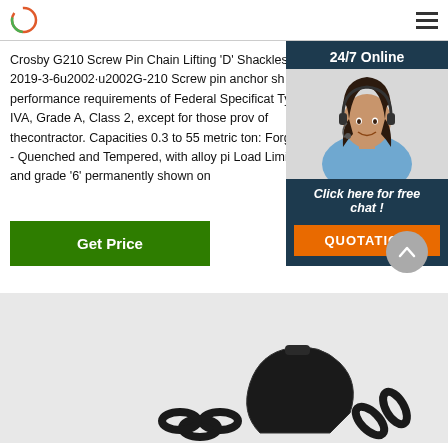Crosby G210 Screw Pin Chain Lifting 'D' Shackles 2019-3-6u2002·u2002G-210 Screw pin anchor shackles performance requirements of Federal Specification Type IVA, Grade A, Class 2, except for those provisions of thecontractor. Capacities 0.3 to 55 metric tons. Forged - Quenched and Tempered, with alloy pin. Load Limit and grade '6' permanently shown on
[Figure (photo): Customer support agent (woman with headset) in a 24/7 Online chat widget with 'Click here for free chat!' text and QUOTATION button]
[Figure (photo): Product image at bottom showing chain shackle hardware]